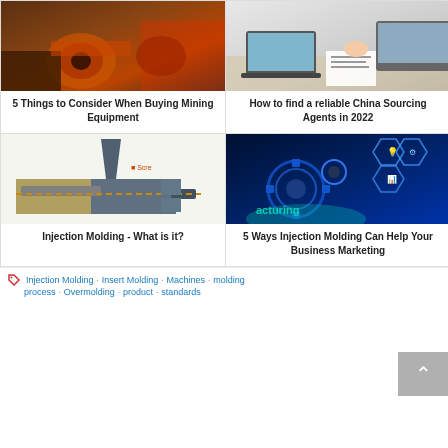[Figure (photo): Mining equipment - heavy machinery on dirt ground]
5 Things to Consider When Buying Mining Equipment
[Figure (photo): Business meeting - people at table with laptops and papers]
How to find a reliable China Sourcing Agents in 2022
[Figure (illustration): Injection molding diagram showing screw and mold components]
Injection Molding - What is it?
[Figure (illustration): Manufacturing technology - gears and hexagonal icons on blue background]
5 Ways Injection Molding Can Help Your Business Marketing
Injection Molding  Insert Molding  Machines  molding process  Overmolding  product  standards